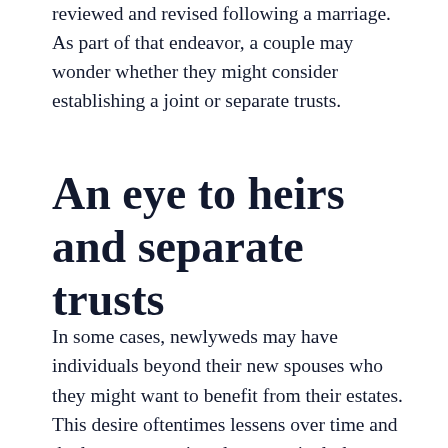reviewed and revised following a marriage. As part of that endeavor, a couple may wonder whether they might consider establishing a joint or separate trusts.
An eye to heirs and separate trusts
In some cases, newlyweds may have individuals beyond their new spouses who they might want to benefit from their estates. This desire oftentimes lessens over time and the longer a marriage lasts, particularly as a couple has children. With that said,